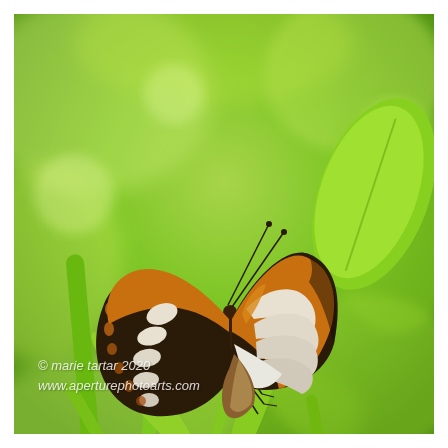[Figure (photo): Close-up nature photograph of a butterfly with brown, orange, and white patterned wings resting on a bright green leaf. The butterfly's wings are folded upright showing the underside pattern with white bands, orange margins, and dark brown coloring. The background is soft bokeh green foliage. Watermark text reads: © marie tartar 2020 / www.aperturephotoarts.com]